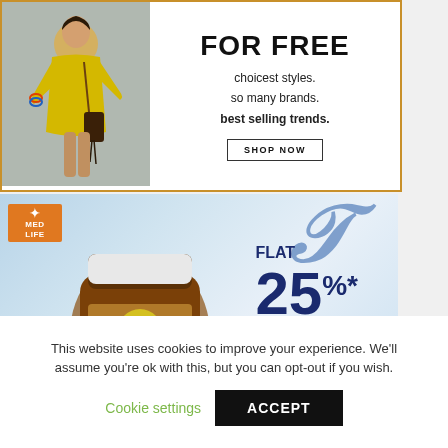[Figure (illustration): Fashion e-commerce advertisement with a woman in yellow outfit on left and promotional text 'FOR FREE choicest styles. so many brands. best selling trends.' with SHOP NOW button on right, gold border]
[Figure (illustration): MedLife pharmacy advertisement showing medicine bottles and capsules with text 'FLAT 25%* OFF ON 1ST MEDICINE ORDER USE CODE AMP25']
This website uses cookies to improve your experience. We'll assume you're ok with this, but you can opt-out if you wish.
Cookie settings
ACCEPT